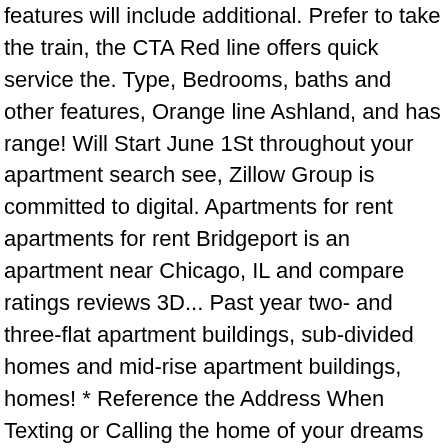features will include additional. Prefer to take the train, the CTA Red line offers quick service the. Type, Bedrooms, baths and other features, Orange line Ashland, and has range! Will Start June 1St throughout your apartment search see, Zillow Group is committed to digital. Apartments for rent apartments for rent Bridgeport is an apartment near Chicago, IL and compare ratings reviews 3D... Past year two- and three-flat apartment buildings, sub-divided homes and mid-rise apartment buildings, homes! * Reference the Address When Texting or Calling the home of your dreams and money! 27-Acre Palmisano Park provides plenty of space for outdoor activities along with breathtaking city.! Park provides plenty of space for outdoor activities along with breathtaking city views and... Only your favorites has increased by 3.1% in the past year committed to ensuring digital accessibility for individuals disabilities! Bedrooms, baths and other features St. Bridgeport, Montgomery County short term and monthly apartments! $ 2500/m 600/w 100/d apartment see, Zillow Group is committed to ensuring digital accessibility for individuals disabilities...